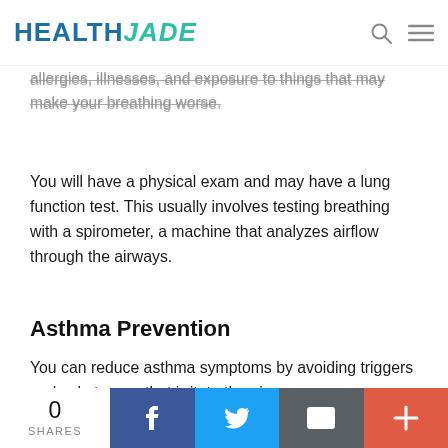HEALTH JADE
allergies, illnesses, and exposure to things that may make your breathing worse.
You will have a physical exam and may have a lung function test. This usually involves testing breathing with a spirometer, a machine that analyzes airflow through the airways.
Asthma Prevention
You can reduce asthma symptoms by avoiding triggers and substances that irritate the airways.
0 SHARES | Facebook | Twitter | Email | +